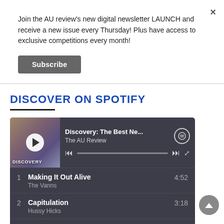Join the AU review's new digital newsletter LAUNCH and receive a new issue every Thursday! Plus have access to exclusive competitions every month!
[Figure (screenshot): Spotify embedded playlist widget showing 'Discovery: The Best Ne...' by The AU Review with track listing including: 1. Making It Out Alive – The Vanns (4:52), 2. Capitulation – Hussy Hicks (3:18), 3. If I Were A Butterfly (5:57)]
DISCOVER ON SPOTIFY